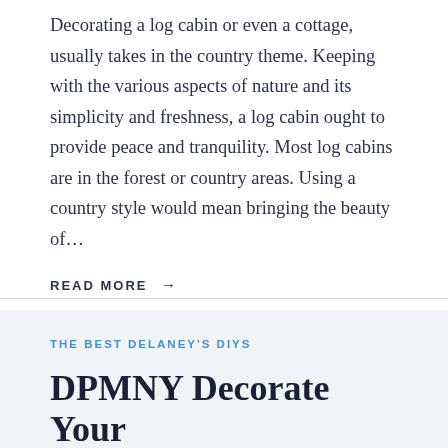Decorating a log cabin or even a cottage, usually takes in the country theme. Keeping with the various aspects of nature and its simplicity and freshness, a log cabin ought to provide peace and tranquility. Most log cabins are in the forest or country areas. Using a country style would mean bringing the beauty of…
READ MORE →
THE BEST DELANEY'S DIYS
DPMNY Decorate Your